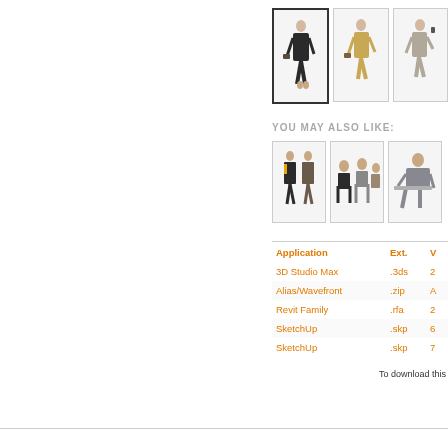[Figure (photo): Three thumbnail images of 3D human figure models in business suits. First (selected with dark border): man in black suit with briefcase. Second: man in tan/beige suit walking. Third: man in light suit on phone.]
YOU MAY ALSO LIKE:
[Figure (photo): Three related product thumbnails. Left: two men in business suits standing. Center: group of people seated. Right: man in gray suit seated.]
| Application | Ext. | V |
| --- | --- | --- |
| 3D Studio Max | .3ds | 2 |
| Alias/Wavefront | .zip | A |
| Revit Family | .rfa | 2 |
| SketchUp | .skp | 6 |
| SketchUp | .skp | 7 |
To download this